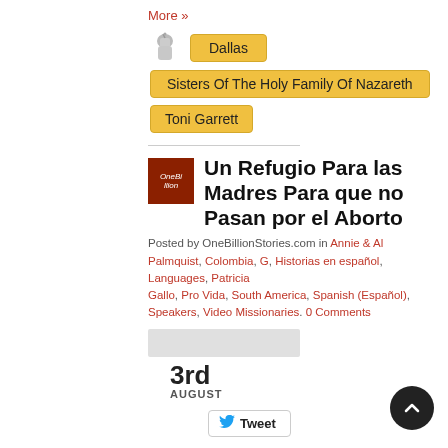More »
Dallas
Sisters Of The Holy Family Of Nazareth
Toni Garrett
Un Refugio Para las Madres Para que no Pasan por el Aborto
Posted by OneBillionStories.com in Annie & Al Palmquist, Colombia, G, Historias en español, Languages, Patricia Gallo, Pro Vida, South America, Spanish (Español), Speakers, Video Missionaries. 0 Comments
3rd AUGUST
Tweet
Patricia Gallo es una psicóloga que se dio cuenta